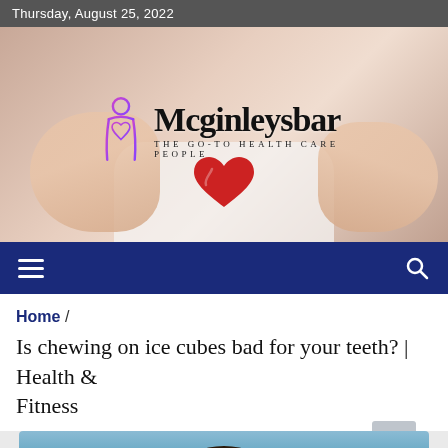Thursday, August 25, 2022
[Figure (photo): Hero banner image showing a person in a white shirt making a heart shape with their hands holding a red heart, overlaid with the Mcginleysbar logo and tagline THE GO-TO HEALTH CARE PEOPLE]
Home /
Is chewing on ice cubes bad for your teeth? | Health & Fitness
[Figure (photo): Partial image at bottom showing the top of a person's head with dark curly hair against a blue background]